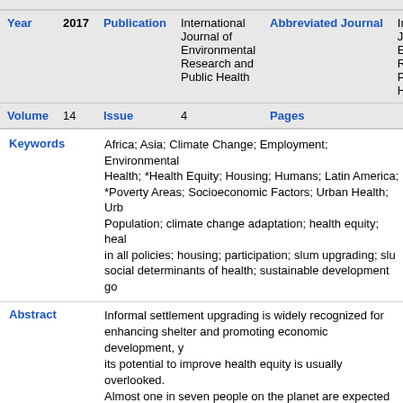| Year | 2017 | Publication | International Journal of Environmental Research and Public Health | Abbreviated Journal | Int J Env Res Pub Hea |
| --- | --- | --- | --- | --- | --- |
| Volume | 14 | Issue | 4 | Pages |  |
Keywords: Africa; Asia; Climate Change; Employment; Environmental Health; *Health Equity; Housing; Humans; Latin America; *Poverty Areas; Socioeconomic Factors; Urban Health; Urban Population; climate change adaptation; health equity; health in all policies; housing; participation; slum upgrading; slum; social determinants of health; sustainable development go
Abstract: Informal settlement upgrading is widely recognized for enhancing shelter and promoting economic development, yet its potential to improve health equity is usually overlooked. Almost one in seven people on the planet are expected to reside in urban informal settlements, or slums, by 2030. Slum upgrading is the process of delivering place-based environmental and social improvements to the urban poor, including land tenure, housing, infrastructure, employment, health services and political and social inclusion. The processes and products of slum upgrading can address multiple environmental determinants of health. This paper reviewed urban slum upgrading evaluations from cities across Asia, Africa and Latin America and found that few captured the multiple health benefits of upgrading. With the Sustainable Development Goals (SDGs) focused on